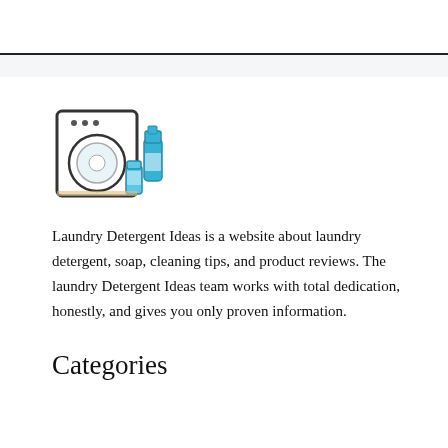[Figure (illustration): Laundry machine icon with detergent bottles and soap]
Laundry Detergent Ideas is a website about laundry detergent, soap, cleaning tips, and product reviews. The laundry Detergent Ideas team works with total dedication, honestly, and gives you only proven information.
Categories